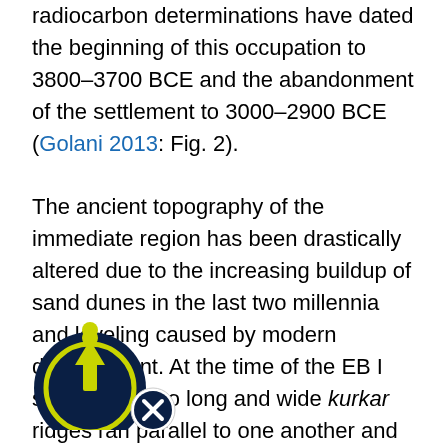radiocarbon determinations have dated the beginning of this occupation to 3800–3700 BCE and the abandonment of the settlement to 3000–2900 BCE (Golani 2013: Fig. 2). The ancient topography of the immediate region has been drastically altered due to the increasing buildup of sand dunes in the last two millennia and leveling caused by modern development. At the time of the EB I settlement, two long and wide kurkar ridges ran parallel to one another and to the coastline. In the trough between these ridges, a distinct ecosystem was created wherein fertile soils and a high water table created optimal conditions for habitation. The location of the ancient settlement adjacent to the coast suggests the possibility of a nearby anchorage
[Figure (logo): Circular logo with arrow pointing upward, overlaid with a close button (X)]